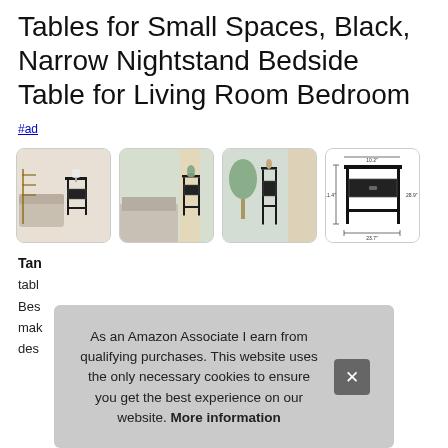Tables for Small Spaces, Black, Narrow Nightstand Bedside Table for Living Room Bedroom
#ad
[Figure (photo): Four product thumbnail photos of a narrow black nightstand/bedside table shown in various room settings and a dimension diagram.]
Tan...
tabl...
Bes...
mak...
des...
As an Amazon Associate I earn from qualifying purchases. This website uses the only necessary cookies to ensure you get the best experience on our website. More information